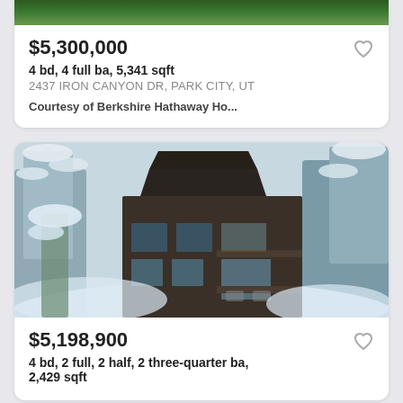[Figure (photo): Partial aerial view of property at 2437 Iron Canyon Dr, Park City UT — top portion of listing card, image cropped at top]
$5,300,000
4 bd, 4 full ba, 5,341 sqft
2437 IRON CANYON DR, PARK CITY, UT
Courtesy of Berkshire Hathaway Ho...
[Figure (photo): Dark wood modern multi-story house surrounded by snow-covered pine trees, aerial/drone perspective]
$5,198,900
4 bd, 2 full, 2 half, 2 three-quarter ba, 2,429 sqft